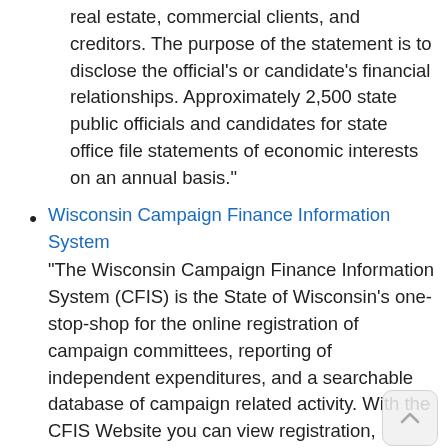real estate, commercial clients, and creditors. The purpose of the statement is to disclose the official's or candidate's financial relationships. Approximately 2,500 state public officials and candidates for state office file statements of economic interests on an annual basis."
Wisconsin Campaign Finance Information System
"The Wisconsin Campaign Finance Information System (CFIS) is the State of Wisconsin's one-stop-shop for the online registration of campaign committees, reporting of independent expenditures, and a searchable database of campaign related activity. With the CFIS Website you can view registration, receipt and disbursement information for state candidates and other registered campaign committees. State candidates and other registered